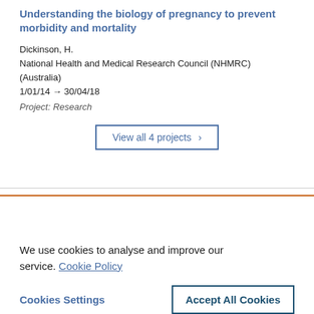Understanding the biology of pregnancy to prevent morbidity and mortality
Dickinson, H.
National Health and Medical Research Council (NHMRC) (Australia)
1/01/14 → 30/04/18
Project: Research
View all 4 projects ›
We use cookies to analyse and improve our service. Cookie Policy
Cookies Settings
Accept All Cookies